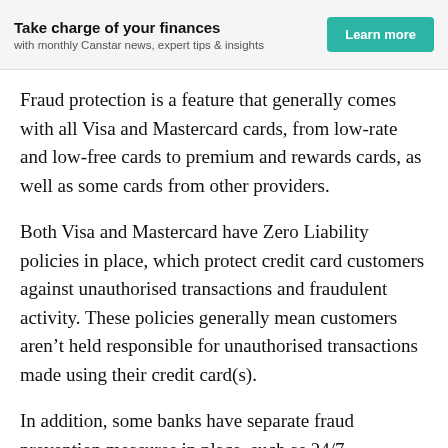Take charge of your finances
with monthly Canstar news, expert tips & insights
Fraud protection is a feature that generally comes with all Visa and Mastercard cards, from low-rate and low-free cards to premium and rewards cards, as well as some cards from other providers.
Both Visa and Mastercard have Zero Liability policies in place, which protect credit card customers against unauthorised transactions and fraudulent activity. These policies generally mean customers aren’t held responsible for unauthorised transactions made using their credit card(s).
In addition, some banks have separate fraud prevention measures in place, such as 24/7 monitoring to help detect suspicious transactions. Consider checking what